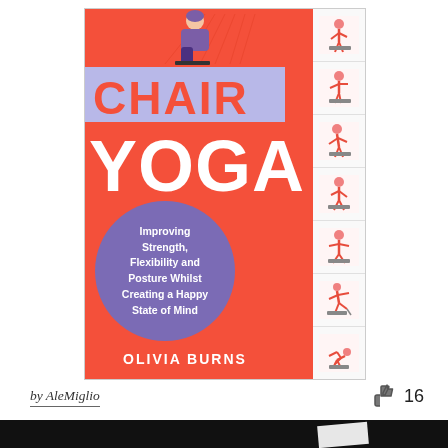[Figure (illustration): Book cover of 'Chair Yoga' by Olivia Burns. Red background with large white 'YOGA' text and red 'CHAIR' text on a lavender/purple band. A purple circle contains subtitle text: 'Improving Strength, Flexibility and Posture Whilst Creating a Happy State of Mind'. Right side shows a vertical strip of small yoga pose illustrations. Bottom shows author name 'OLIVIA BURNS' in white.]
by AleMiglio
16
[Figure (photo): Bottom portion of another image peeking into frame, black background with partial white card visible.]